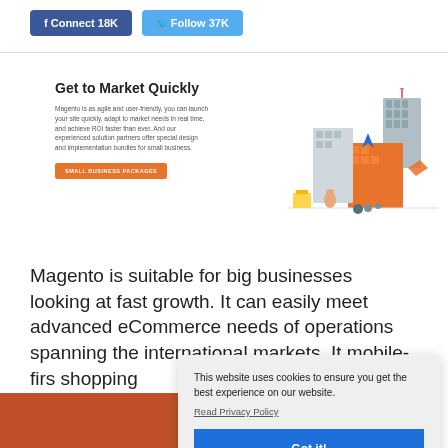[Figure (screenshot): Social media connect/follow buttons: Facebook Connect 18K (blue) and Twitter Follow 37K (light blue)]
[Figure (screenshot): Promotional banner section titled 'Get to Market Quickly' with descriptive text, an orange 'SMALL BUSINESS PACKAGES' button, and an isometric eCommerce illustration on the right]
Magento is suitable for big businesses looking at fast growth. It can easily meet advanced eCommerce needs of operations spanning the international markets. It mobile-first shopping
[Figure (screenshot): Cookie consent popup overlay: 'This website uses cookies to ensure you get the best experience on our website.' with a 'Read Privacy Policy' link and a blue 'Got it!' button]
[Figure (screenshot): Bottom banner showing partial image with orange/brown background and text 'MAGENTO 2 WORDPRESS INTEGRATION']